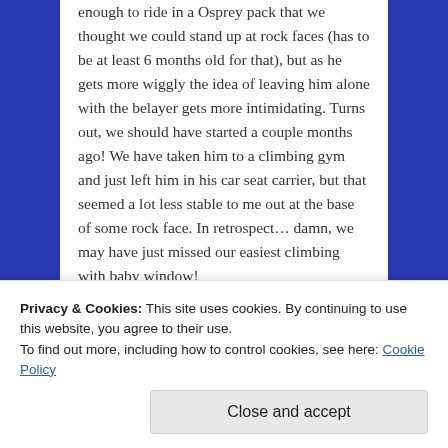enough to ride in a Osprey pack that we thought we could stand up at rock faces (has to be at least 6 months old for that), but as he gets more wiggly the idea of leaving him alone with the belayer gets more intimidating. Turns out, we should have started a couple months ago! We have taken him to a climbing gym and just left him in his car seat carrier, but that seemed a lot less stable to me out at the base of some rock face. In retrospect… damn, we may have just missed our easiest climbing with baby window!
★ Like
Reply
Privacy & Cookies: This site uses cookies. By continuing to use this website, you agree to their use.
To find out more, including how to control cookies, see here: Cookie Policy
Close and accept